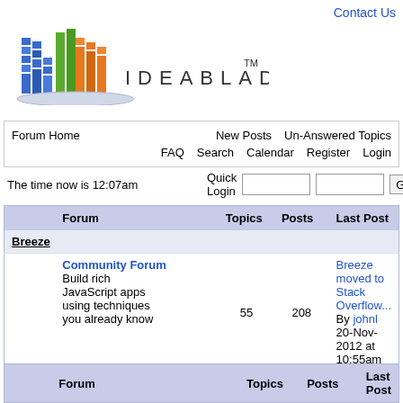Contact Us
[Figure (logo): IdeaBlade logo with colorful building/grid graphic and text IDEABLADE with TM mark]
| Forum Home | New Posts | Un-Answered Topics | FAQ | Search | Calendar | Register | Login |
| --- | --- | --- | --- | --- | --- | --- | --- |
The time now is 12:07am
Quick Login [input] [input] Go
|  | Forum | Topics | Posts | Last Post |
| --- | --- | --- | --- | --- |
| Breeze |  |  |  |  |
|  | Community Forum
Build rich JavaScript apps using techniques you already know | 55 | 208 | Breeze moved to Stack Overflow...
By johnl
20-Nov-2012 at 10:55am |
|  | Forum | Topics | Posts | Last Post |
| --- | --- | --- | --- | --- |